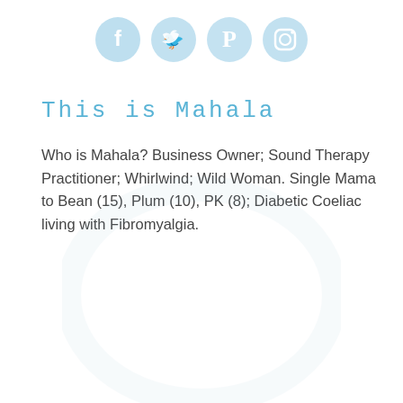[Figure (illustration): Four social media icon circles (Facebook, Twitter, Pinterest, Instagram) rendered in a watercolor blue style, arranged in a row at the top center of the page.]
This is Mahala
Who is Mahala? Business Owner; Sound Therapy Practitioner; Whirlwind; Wild Woman. Single Mama to Bean (15), Plum (10), PK (8); Diabetic Coeliac living with Fibromyalgia.
[Figure (illustration): Faint watercolor circle/stamp watermark in light blue/grey at the bottom center of the page.]